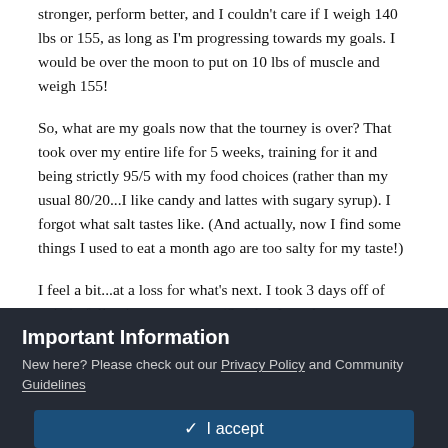stronger, perform better, and I couldn't care if I weigh 140 lbs or 155, as long as I'm progressing towards my goals. I would be over the moon to put on 10 lbs of muscle and weigh 155!
So, what are my goals now that the tourney is over? That took over my entire life for 5 weeks, training for it and being strictly 95/5 with my food choices (rather than my usual 80/20...I like candy and lattes with sugary syrup). I forgot what salt tastes like. (And actually, now I find some things I used to eat a month ago are too salty for my taste!)
I feel a bit...at a loss for what's next. I took 3 days off of strictly following my macros (Sunday I ate the most gorgeous donuts, and then Monday and Tuesday I think I actually underate, but it was all junk food lol), but I'm ready to hop back on the ETP train, especially where my water intake is concerned. I feel great when I drink 3-4 L a day, and I feel like
Important Information
New here? Please check out our Privacy Policy and Community Guidelines
✓  I accept